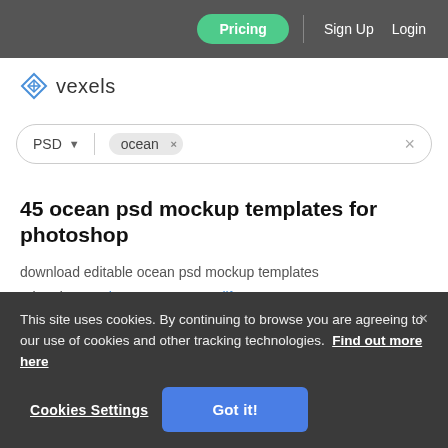Pricing | Sign Up  Login
[Figure (logo): Vexels logo with diamond icon and text 'vexels']
[Figure (screenshot): Search bar with PSD filter and 'ocean' tag with X, and clear X button]
45 ocean psd mockup templates for photoshop
download editable ocean psd mockup templates
related: oceania, oceans, ocean life
This site uses cookies. By continuing to browse you are agreeing to our use of cookies and other tracking technologies. Find out more here
Cookies Settings  Got it!